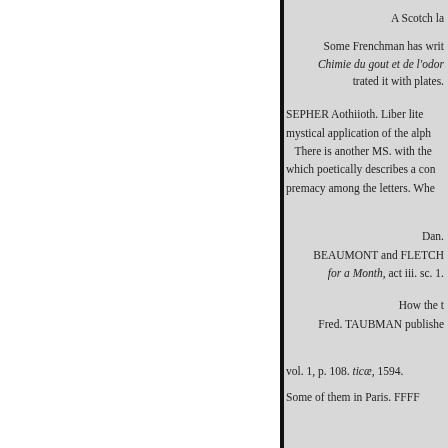A Scotch la
Some Frenchman has writ
Chimie du gout et de l'odor
trated it with plates.
SEPHER Aothiioth. Liber lite
mystical application of the alph
There is another MS. with the
which poetically describes a con
premacy among the letters. Whe
Dan.
BEAUMONT and FLETCH
for a Month, act iii. sc. 1.
How the t
Fred. TAUBMAN publishe
vol. 1, p. 108. ticæ, 1594.
Some of them in Paris. FFFF